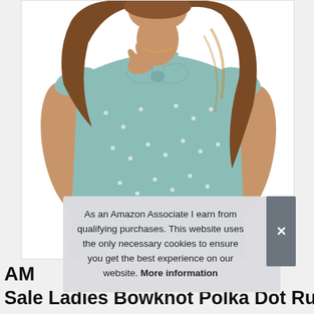[Figure (photo): A woman wearing a light mint/sage green polka dot sleeveless blouse with a bow-knot tie at the neckline and ruffle cap sleeves. She has long wavy brunette hair. The product photo is on a white background.]
As an Amazon Associate I earn from qualifying purchases. This website uses the only necessary cookies to ensure you get the best experience on our website. More information
AM
Sale Ladies Bowknot Polka Dot Ruffle